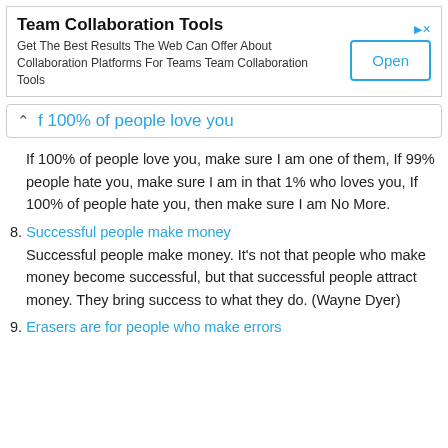[Figure (other): Advertisement banner for Team Collaboration Tools with Open button]
f 100% of people love you
If 100% of people love you, make sure I am one of them, If 99% people hate you, make sure I am in that 1% who loves you, If 100% of people hate you, then make sure I am No More.
8. Successful people make money
Successful people make money. It's not that people who make money become successful, but that successful people attract money. They bring success to what they do. (Wayne Dyer)
9. Erasers are for people who make errors